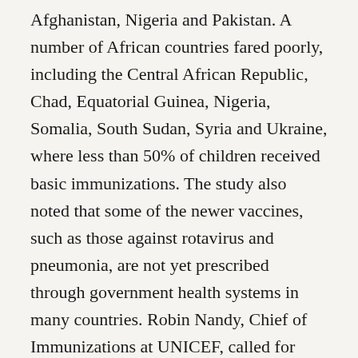Afghanistan, Nigeria and Pakistan. A number of African countries fared poorly, including the Central African Republic, Chad, Equatorial Guinea, Nigeria, Somalia, South Sudan, Syria and Ukraine, where less than 50% of children received basic immunizations. The study also noted that some of the newer vaccines, such as those against rotavirus and pneumonia, are not yet prescribed through government health systems in many countries. Robin Nandy, Chief of Immunizations at UNICEF, called for making vaccination a priority in all contexts, noting the value of immunization in strengthening equity.
On the sidelines of the High-Level Political